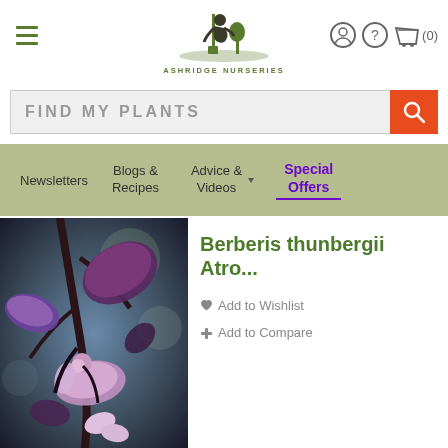[Figure (logo): Ashridge Nurseries logo with gardener figure and tree, green text]
FIND MY PLANTS search bar with search button, navigation: Newsletters, Blogs & Recipes, Advice & Videos, Special Offers
Berberis thunbergii Atro...
♥ Add to Wishlist
✛ Add to Compare
[Figure (photo): Close-up photo of Berberis thunbergii Atropurpurea with purple-pink leaves and dark brown stems against a blurred background]